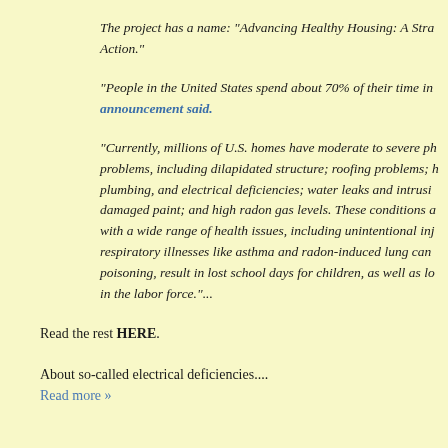The project has a name: "Advancing Healthy Housing: A Stra... Action."
"People in the United States spend about 70% of their time in... announcement said.
"Currently, millions of U.S. homes have moderate to severe ph... problems, including dilapidated structure; roofing problems; plumbing, and electrical deficiencies; water leaks and intrusi... damaged paint; and high radon gas levels. These conditions a... with a wide range of health issues, including unintentional inj... respiratory illnesses like asthma and radon-induced lung can... poisoning, result in lost school days for children, as well as lo... in the labor force."...
Read the rest HERE.
About so-called electrical deficiencies....
Read more »